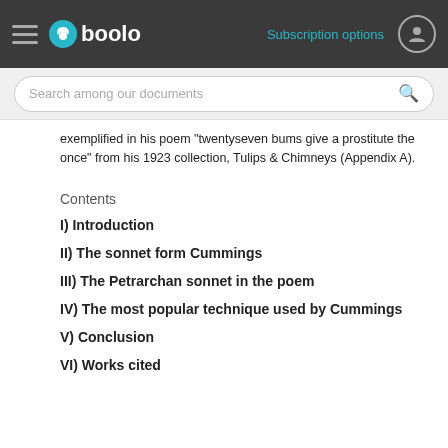Gboolo — Subscription options
exemplified in his poem "twentyseven bums give a prostitute the once" from his 1923 collection, Tulips & Chimneys (Appendix A).
Contents
I) Introduction
II) The sonnet form Cummings
III) The Petrarchan sonnet in the poem
IV) The most popular technique used by Cummings
V) Conclusion
VI) Works cited